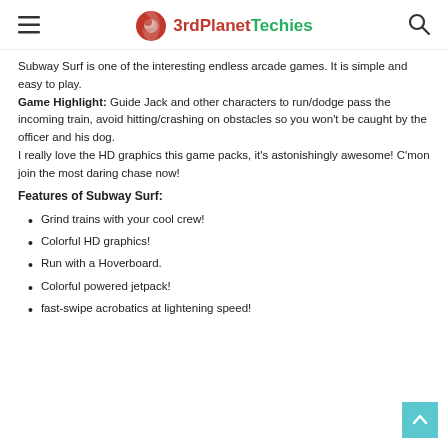3rdPlanetTechies
Subway Surf is one of the interesting endless arcade games. It is simple and easy to play. Game Highlight: Guide Jack and other characters to run/dodge pass the incoming train, avoid hitting/crashing on obstacles so you won't be caught by the officer and his dog. I really love the HD graphics this game packs, it's astonishingly awesome! C'mon join the most daring chase now!
Features of Subway Surf:
Grind trains with your cool crew!
Colorful HD graphics!
Run with a Hoverboard.
Colorful powered jetpack!
fast-swipe acrobatics at lightening speed!